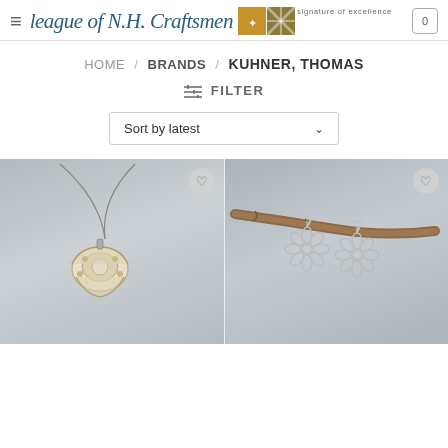League of N.H. Craftsmen — signature of excellence
HOME / BRANDS / KUHNER, THOMAS
FILTER
Sort by latest
[Figure (photo): Silver clam shell pendant necklace on a chain, photographed against a grey background]
[Figure (photo): Pair of silver flower-shaped earrings hanging from a wooden branch, photographed against a grey background]